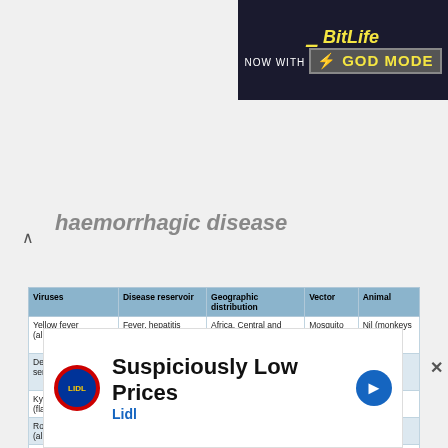[Figure (screenshot): BitLife 'NOW WITH GOD MODE' advertisement banner in dark blue background with yellow text]
haemorrhagic disease
| Viruses | Disease reservoir | Geographic distribution | Vector | Animal |
| --- | --- | --- | --- | --- |
| Yellow fever (alphavirus) | Fever, hepatitis | Africa, Central and South America | Mosquito Aedes spp. | Nil (monkeys for jungle type) |
| Dengue (4 serotypes) (flavivirus) | Fever, rash (haemorrhagic shock syndrome) | India, southeast Asia, Pacific, South America, Caribbean | Mosquito | Nil |
| Kyasanur forest (flavivirus) | Haemorrhagic fever | India | Tick | Monkeys, rodent |
| Ross river (alphavirus) | Fever, arthralgia, arthritis | Australia, Pacific Islands | Mosquito | Birds |
| Rift Valley fever (bunyavirus) | Fever, sometimes haemorrhage | Africa | Mosquito | Sheep, cattle, camels |
| Sandfly fever (bunyavirus) | Fever (mild disease) | Asia, South America, Mediterranean | Sandflies | Gerbils |
| Congo-Crimean haemorrhagic fever (bunyavirus) | Fever, haemorrhage | Asia, Africa | Tick | Rodents |
| Colorado tick fever (reovirus) | Fever, myalgia | USA (Rocky Mountains) | Tick | Rodents |
| La Crosse (bunyavirus) | Fever | USA | Mosquito | Rodents |
[Figure (screenshot): Lidl 'Suspiciously Low Prices' advertisement with Lidl logo and navigation arrow]